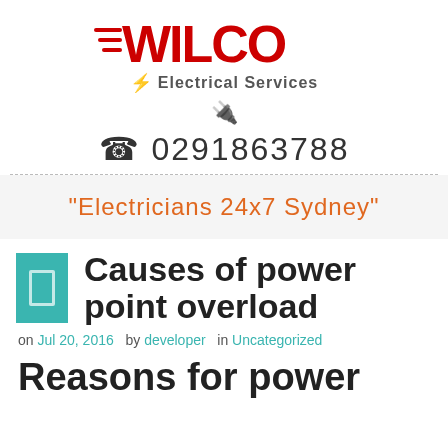[Figure (logo): WILCO Electrical Services logo with red text and lightning bolt lines]
☎ 0291863788
"Electricians 24x7 Sydney"
Causes of power point overload
on Jul 20, 2016   by developer   in Uncategorized
Reasons for power